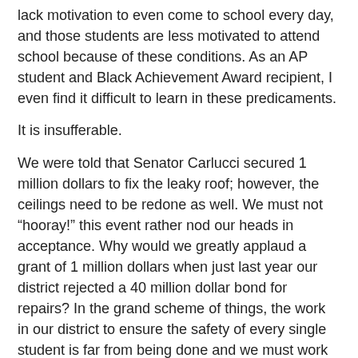lack motivation to even come to school every day, and those students are less motivated to attend school because of these conditions. As an AP student and Black Achievement Award recipient, I even find it difficult to learn in these predicaments.
It is insufferable.
We were told that Senator Carlucci secured 1 million dollars to fix the leaky roof; however, the ceilings need to be redone as well. We must not “hooray!” this event rather nod our heads in acceptance. Why would we greatly applaud a grant of 1 million dollars when just last year our district rejected a 40 million dollar bond for repairs? In the grand scheme of things, the work in our district to ensure the safety of every single student is far from being done and we must work together, as a unified district, to get not only the roof at Ramapo High School fixed but all repairs done in the district. We must advocate for safe conditions for our students every day, even if “the roof is on fire.”
– Ellen Sue Cola
(The writer is a Senior at Ramapo HS)